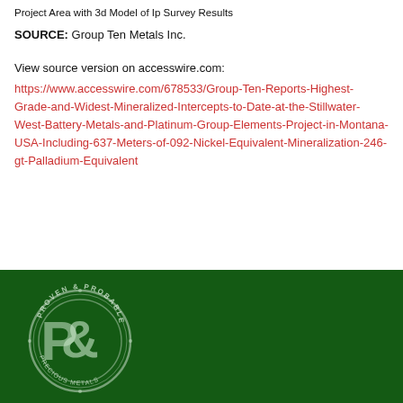Project Area with 3d Model of Ip Survey Results
SOURCE: Group Ten Metals Inc.
View source version on accesswire.com:
https://www.accesswire.com/678533/Group-Ten-Reports-Highest-Grade-and-Widest-Mineralized-Intercepts-to-Date-at-the-Stillwater-West-Battery-Metals-and-Platinum-Group-Elements-Project-in-Montana-USA-Including-637-Meters-of-092-Nickel-Equivalent-Mineralization-246-gt-Palladium-Equivalent
[Figure (logo): Proven and Probable circular seal logo with letter P in center, on dark green background]